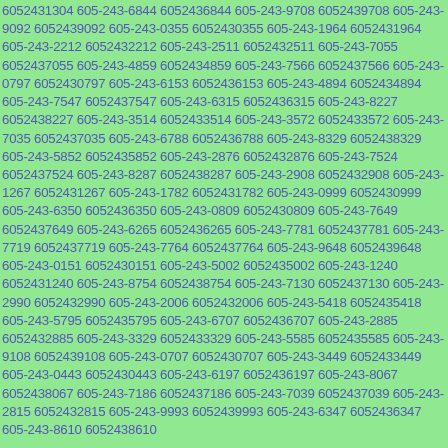6052431304 605-243-6844 6052436844 605-243-9708 6052439708 605-243-9092 6052439092 605-243-0355 6052430355 605-243-1964 6052431964 605-243-2212 6052432212 605-243-2511 6052432511 605-243-7055 6052437055 605-243-4859 6052434859 605-243-7566 6052437566 605-243-0797 6052430797 605-243-6153 6052436153 605-243-4894 6052434894 605-243-7547 6052437547 605-243-6315 6052436315 605-243-8227 6052438227 605-243-3514 6052433514 605-243-3572 6052433572 605-243-7035 6052437035 605-243-6788 6052436788 605-243-8329 6052438329 605-243-5852 6052435852 605-243-2876 6052432876 605-243-7524 6052437524 605-243-8287 6052438287 605-243-2908 6052432908 605-243-1267 6052431267 605-243-1782 6052431782 605-243-0999 6052430999 605-243-6350 6052436350 605-243-0809 6052430809 605-243-7649 6052437649 605-243-6265 6052436265 605-243-7781 6052437781 605-243-7719 6052437719 605-243-7764 6052437764 605-243-9648 6052439648 605-243-0151 6052430151 605-243-5002 6052435002 605-243-1240 6052431240 605-243-8754 6052438754 605-243-7130 6052437130 605-243-2990 6052432990 605-243-2006 6052432006 605-243-5418 6052435418 605-243-5795 6052435795 605-243-6707 6052436707 605-243-2885 6052432885 605-243-3329 6052433329 605-243-5585 6052435585 605-243-9108 6052439108 605-243-0707 6052430707 605-243-3449 6052433449 605-243-0443 6052430443 605-243-6197 6052436197 605-243-8067 6052438067 605-243-7186 6052437186 605-243-7039 6052437039 605-243-2815 6052432815 605-243-9993 6052439993 605-243-6347 6052436347 605-243-8610 6052438610